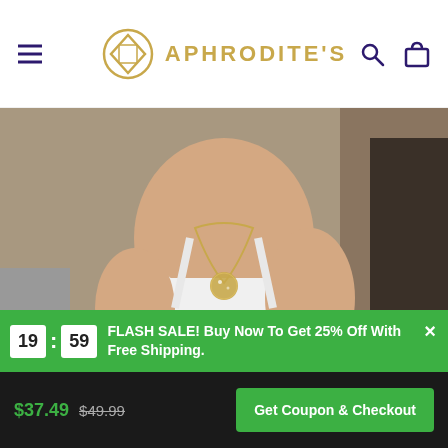[Figure (screenshot): Aphrodite's jewelry e-commerce website screenshot showing a product page with header navigation, main product photo of woman wearing necklace, thumbnail gallery, flash sale countdown banner (19:59), and checkout bar with pricing ($37.49 sale price, $49.99 original price) and Get Coupon & Checkout button.]